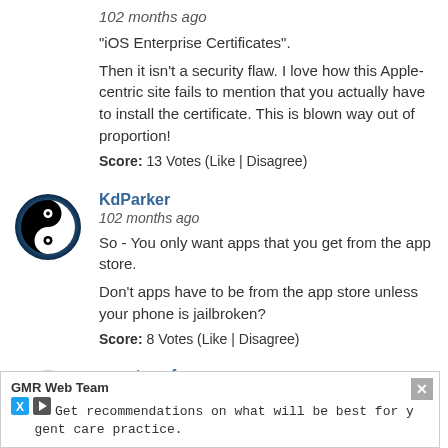"iOS Enterprise Certificates".
Then it isn't a security flaw. I love how this Apple-centric site fails to mention that you actually have to install the certificate. This is blown way out of proportion!
Score: 13 Votes (Like | Disagree)
KdParker
102 months ago
So - You only want apps that you get from the app store.
Don't apps have to be from the app store unless your phone is jailbroken?
Score: 8 Votes (Like | Disagree)
spectrumfox
102 months ago
As much as trivial and "common sense"ish this may seem, there is absolutely nothing wrong with this type o...
GMR Web Team
Get recommendations on what will be best for y...gent care practice.